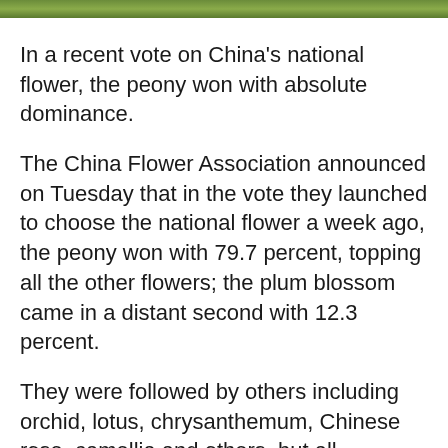[Figure (photo): Top strip showing green foliage/plant photo]
In a recent vote on China's national flower, the peony won with absolute dominance.
The China Flower Association announced on Tuesday that in the vote they launched to choose the national flower a week ago, the peony won with 79.7 percent, topping all the other flowers; the plum blossom came in a distant second with 12.3 percent.
They were followed by others including orchid, lotus, chrysanthemum, Chinese rose, camellia and others, but all accounted for a tiny portion of the votes.
The association said they will submit the result of the election to the government for